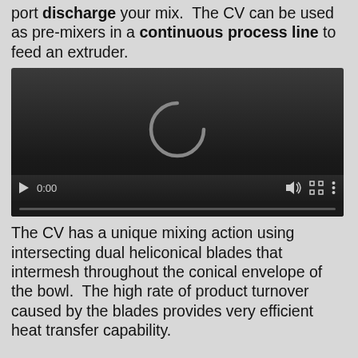port discharge your mix. The CV can be used as pre-mixers in a continuous process line to feed an extruder.
[Figure (screenshot): Embedded video player showing a loading spinner (arc) in the center, with playback controls at the bottom including a play button, time display '0:00', volume icon, fullscreen icon, and options icon. A grey progress bar is shown at the very bottom.]
The CV has a unique mixing action using intersecting dual heliconical blades that intermesh throughout the conical envelope of the bowl. The high rate of product turnover caused by the blades provides very efficient heat transfer capability.